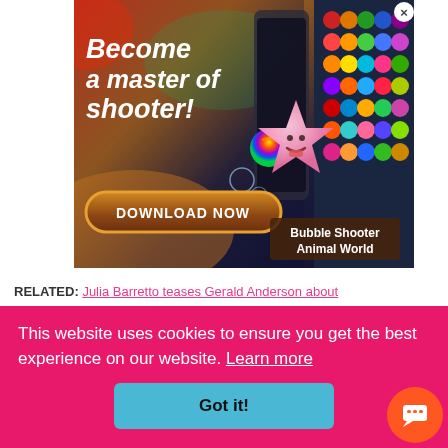[Figure (screenshot): Mobile game advertisement for Bubble Shooter Animal World. Shows colorful text 'Become a master of shooter!' with a Download Now button, a pink starfish character, rainbow ball, and a grid of colored bubble balls on the right side. Brown game branding label at bottom right.]
RELATED: Julia Barretto teases Gerald Anderson about
This website uses cookies to ensure you get the best experience on our website. Learn more
Got it!